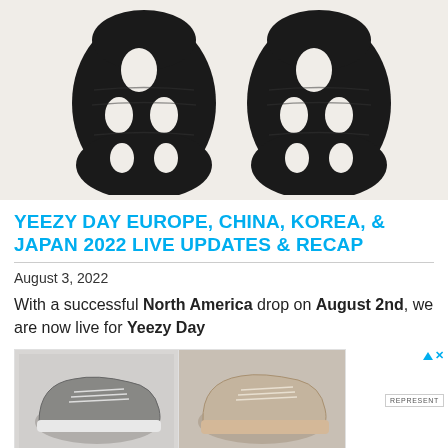[Figure (photo): Bottom soles of two dark/black sneakers viewed from below, shown side by side on a beige/cream background. The soles have distinctive cutout patterns.]
YEEZY DAY EUROPE, CHINA, KOREA, & JAPAN 2022 LIVE UPDATES & RECAP
August 3, 2022
With a successful North America drop on August 2nd, we are now live for Yeezy Day
[Figure (photo): Advertisement showing two sneakers side by side: a grey/dark textured low-top sneaker on the left and a beige/tan suede low-top sneaker on the right. Ad includes a Represent brand logo badge.]